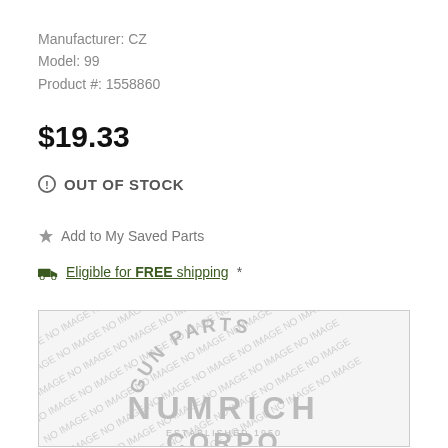Manufacturer: CZ
Model: 99
Product #: 1558860
$19.33
OUT OF STOCK
Add to My Saved Parts
Eligible for FREE shipping *
[Figure (logo): Numrich Gun Parts Corporation placeholder image with diagonal 'NO IMAGE' watermark text and Numrich logo]